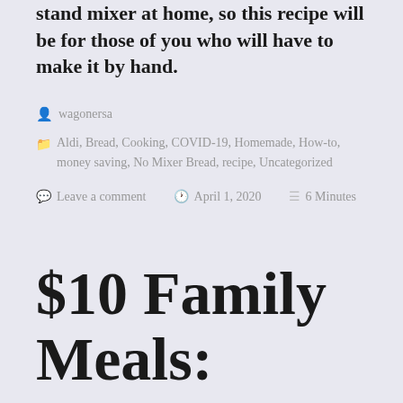stand mixer at home, so this recipe will be for those of you who will have to make it by hand.
wagonersa
Aldi, Bread, Cooking, COVID-19, Homemade, How-to, money saving, No Mixer Bread, recipe, Uncategorized
Leave a comment  April 1, 2020  6 Minutes
$10 Family Meals: Casserole